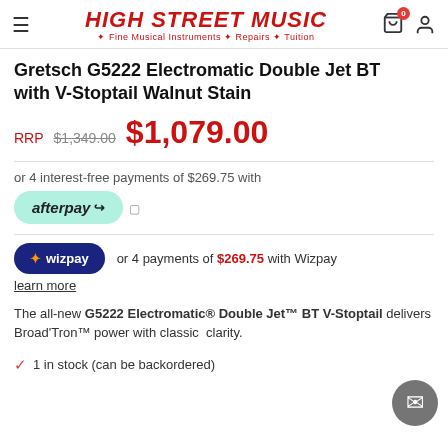HIGH STREET MUSIC · Fine Musical Instruments · Repairs · Tuition
Gretsch G5222 Electromatic Double Jet BT with V-Stoptail Walnut Stain
RRP $1,349.00 $1,079.00
or 4 interest-free payments of $269.75 with afterpay
or 4 payments of $269.75 with Wizpay learn more
The all-new G5222 Electromatic® Double Jet™ BT V-Stoptail delivers Broad'Tron™ power with classic clarity.
1 in stock (can be backordered)